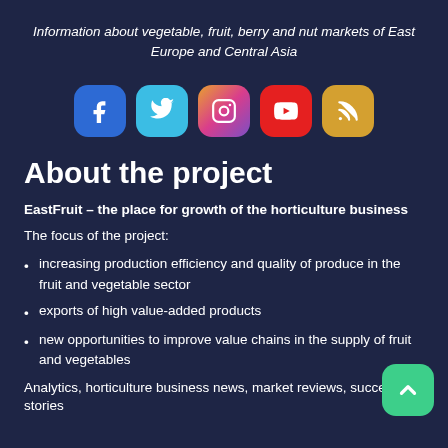Information about vegetable, fruit, berry and nut markets of East Europe and Central Asia
[Figure (infographic): Five social media icon buttons: Facebook (blue), Twitter (cyan), Instagram (gradient), YouTube (red), RSS (gold)]
About the project
EastFruit – the place for growth of the horticulture business
The focus of the project:
increasing production efficiency and quality of produce in the fruit and vegetable sector
exports of high value-added products
new opportunities to improve value chains in the supply of fruit and vegetables
Analytics, horticulture business news, market reviews, success stories